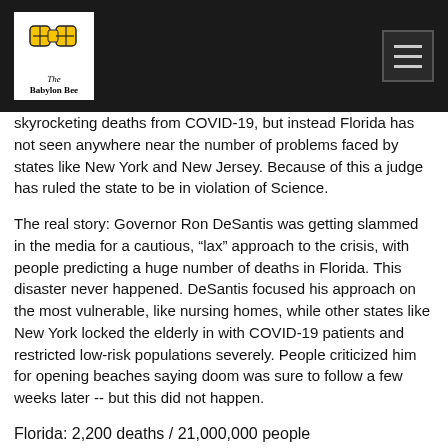The Babylon Bee
skyrocketing deaths from COVID-19, but instead Florida has not seen anywhere near the number of problems faced by states like New York and New Jersey. Because of this a judge has ruled the state to be in violation of Science.
The real story: Governor Ron DeSantis was getting slammed in the media for a cautious, “lax” approach to the crisis, with people predicting a huge number of deaths in Florida. This disaster never happened. DeSantis focused his approach on the most vulnerable, like nursing homes, while other states like New York locked the elderly in with COVID-19 patients and restricted low-risk populations severely. People criticized him for opening beaches saying doom was sure to follow a few weeks later -- but this did not happen.
Florida: 2,200 deaths / 21,000,000 people
New York: 23,000 deaths / 19,500,000 people
How does Andrew Cuomo do such a bad job managing this thing and get away with it while Florida gets slammed while doing a great job?